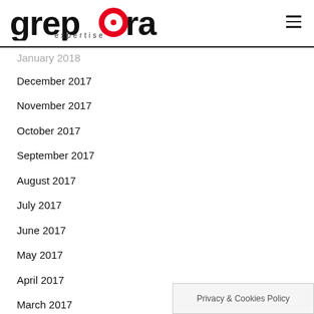grepora expertise
January 2018
December 2017
November 2017
October 2017
September 2017
August 2017
July 2017
June 2017
May 2017
April 2017
March 2017
February 2017
January 2017
December 2016
Privacy & Cookies Policy